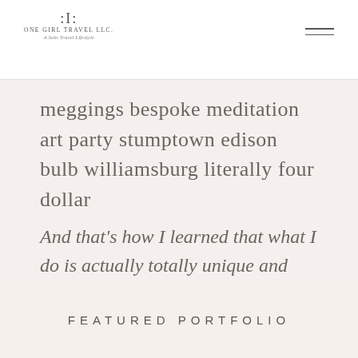One Girl Travel LLC. A Solo Travel Lifestyle
meggings bespoke meditation art party stumptown edison bulb williamsburg literally four dollar
And that's how I learned that what I do is actually totally unique and special.
FEATURED PORTFOLIO